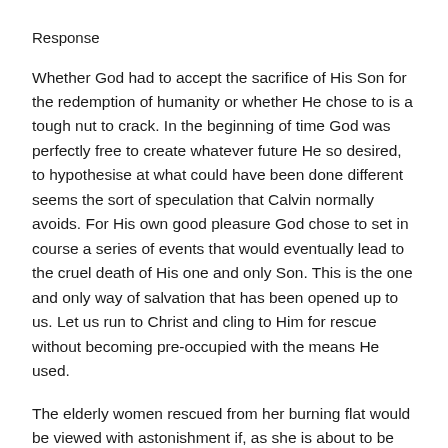Response
Whether God had to accept the sacrifice of His Son for the redemption of humanity or whether He chose to is a tough nut to crack. In the beginning of time God was perfectly free to create whatever future He so desired, to hypothesise at what could have been done different seems the sort of speculation that Calvin normally avoids. For His own good pleasure God chose to set in course a series of events that would eventually lead to the cruel death of His one and only Son. This is the one and only way of salvation that has been opened up to us. Let us run to Christ and cling to Him for rescue without becoming pre-occupied with the means He used.
The elderly women rescued from her burning flat would be viewed with astonishment if, as she is about to be lifted from the smoking room, began to ask the fireman whether she had to be rescued through this particular window, or whether the